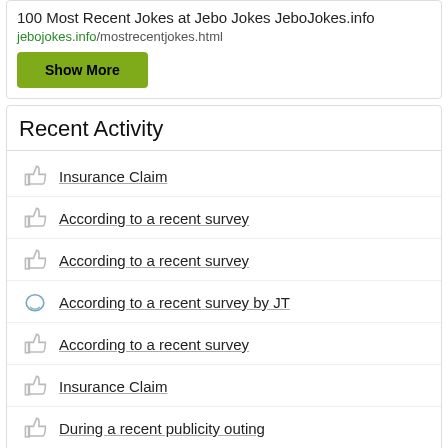100 Most Recent Jokes at Jebo Jokes JeboJokes.info
jebojokes.info/mostrecentjokes.html
Show More
Recent Activity
Insurance Claim
According to a recent survey
According to a recent survey
According to a recent survey by JT
According to a recent survey
Insurance Claim
During a recent publicity outing
JokeBuddha.com © 2010-2022 | Terms & Privacy
We love good humor and obviously hilarious jokes followed by a healthy laughter!